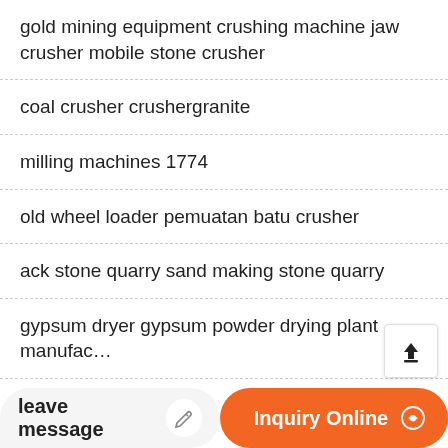gold mining equipment crushing machine jaw crusher mobile stone crusher
coal crusher crushergranite
milling machines 1774
old wheel loader pemuatan batu crusher
ack stone quarry sand making stone quarry
gypsum dryer gypsum powder drying plant manufac...
small mobile cone crusher fo...
tractor power stone crusher